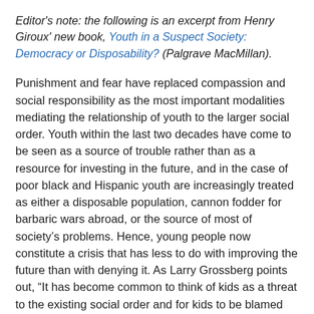Editor's note: the following is an excerpt from Henry Giroux' new book, Youth in a Suspect Society: Democracy or Disposability? (Palgrave MacMillan).
Punishment and fear have replaced compassion and social responsibility as the most important modalities mediating the relationship of youth to the larger social order. Youth within the last two decades have come to be seen as a source of trouble rather than as a resource for investing in the future, and in the case of poor black and Hispanic youth are increasingly treated as either a disposable population, cannon fodder for barbaric wars abroad, or the source of most of society's problems. Hence, young people now constitute a crisis that has less to do with improving the future than with denying it. As Larry Grossberg points out, “It has become common to think of kids as a threat to the existing social order and for kids to be blamed for the problems they experience. We slide from kids in trouble, kids have problems, and kids are threatened, to kids as trouble, kids as problems, and kids as threatening.”
This was exemplified when the columnist Bob Herbert